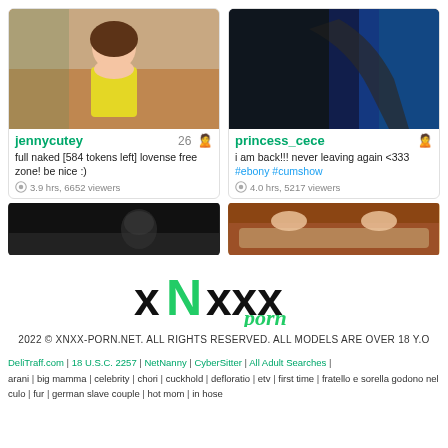[Figure (screenshot): Thumbnail of webcam stream for jennycutey - young woman in yellow top]
jennycutey 26 🙎
full naked [584 tokens left] lovense free zone! be nice :)
3.9 hrs, 6652 viewers
[Figure (screenshot): Thumbnail of webcam stream for princess_cece - dark background stream]
princess_cece 🙎
i am back!!! never leaving again <333 #ebony #cumshow
4.0 hrs, 5217 viewers
[Figure (screenshot): Bottom left webcam thumbnail - dark/dimly lit room]
[Figure (screenshot): Bottom right webcam thumbnail - brown couch visible]
[Figure (logo): XNXXX porn logo with green N lettermark]
2022 © XNXX-PORN.NET. ALL RIGHTS RESERVED. ALL MODELS ARE OVER 18 Y.O
DeliTraff.com | 18 U.S.C. 2257 | NetNanny | CyberSitter | All Adult Searches |
arani | big mamma | celebrity | chori | cuckhold | defloratio | etv | first time | fratello e sorella godono nel culo | fur | german slave couple | hot mom | in hose